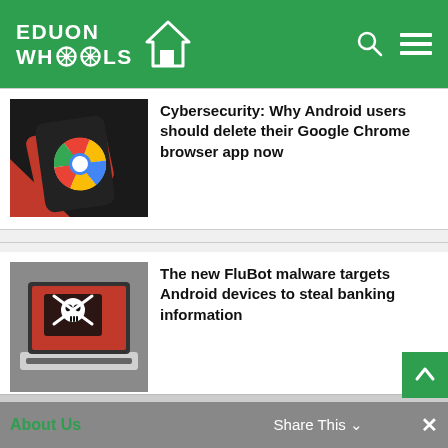EDUON WHOOLS
[Figure (photo): A smartphone displaying the Google Chrome logo icon on a dark background with red and dark shapes behind it.]
Cybersecurity: Why Android users should delete their Google Chrome browser app now
[Figure (photo): A laptop with a red screen showing a skull and crossbones / pirate flag icon, representing malware threat.]
The new FluBot malware targets Android devices to steal banking information
About Us   Share This ∨   ✕